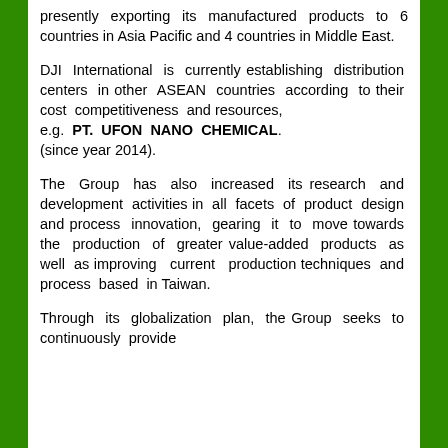presently exporting its manufactured products to 6 countries in Asia Pacific and 4 countries in Middle East.
DJI International is currently establishing distribution centers in other ASEAN countries according to their cost competitiveness and resources, e.g. PT. UFON NANO CHEMICAL. (since year 2014).
The Group has also increased its research and development activities in all facets of product design and process innovation, gearing it to move towards the production of greater value-added products as well as improving current production techniques and process based in Taiwan.
Through its globalization plan, the Group seeks to continuously provide